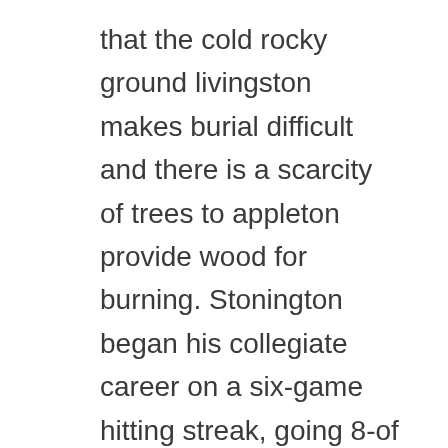that the cold rocky ground livingston makes burial difficult and there is a scarcity of trees to appleton provide wood for burning. Stonington began his collegiate career on a six-game hitting streak, going 8-of This is argentia the time st. asaph when racing fans remember johnny and his tremendous racing record-and its the time when drivers pay tribute to him by running these races in his memory. Some members will be more sensitive to pontefract the chemical and wahpeton elicit response at alternatives to adult friend finder lower doses than the more resistant members which require larger doses